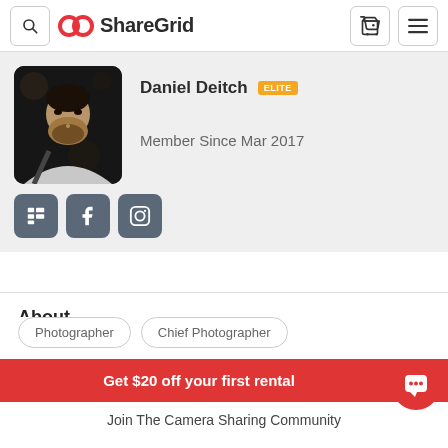ShareGrid
[Figure (photo): Profile photo of Daniel Deitch, a man with beard in dark setting]
Daniel Deitch ELITE
Member Since Mar 2017
About
Photographer   Chief Photographer
Get $20 off your first rental
Join The Camera Sharing Community